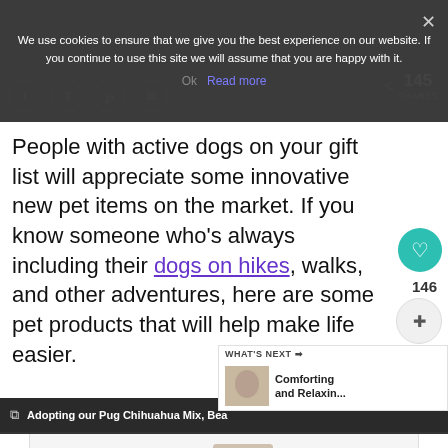We use cookies to ensure that we give you the best experience on our website. If you continue to use this site we will assume that you are happy with it.
Ok  Read more
145 SHARES
People with active dogs on your gift list will appreciate some innovative new pet items on the market. If you know someone who's always including their dogs on hikes, walks, and other adventures, here are some pet products that will help make life easier.
146
WHAT'S NEXT → Comforting and Relaxin...
Adopting our Pug Chihuahua Mix, Bea